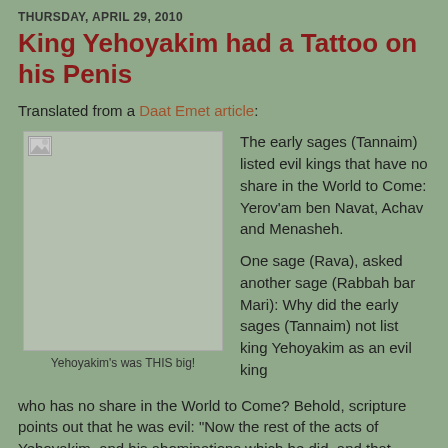THURSDAY, APRIL 29, 2010
King Yehoyakim had a Tattoo on his Penis
Translated from a Daat Emet article:
[Figure (photo): Image placeholder with broken image icon]
Yehoyakim's was THIS big!
The early sages (Tannaim) listed evil kings that have no share in the World to Come: Yerov'am ben Navat, Achav and Menasheh.
One sage (Rava), asked another sage (Rabbah bar Mari): Why did the early sages (Tannaim) not list king Yehoyakim as an evil king who has no share in the World to Come? Behold, scripture points out that he was evil: "Now the rest of the acts of Yehoyakim, and his abominations which he did, and that which was found upon him, behold, they are written in the